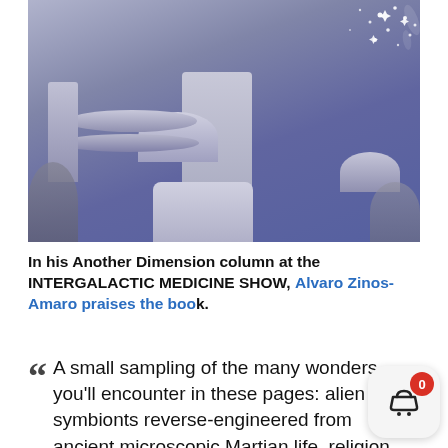[Figure (illustration): A science fiction cityscape illustration showing futuristic domed and disc-shaped buildings with towers, trees in the foreground, and sparkling stars/cosmic effects in the upper right, rendered in blue-gray tones.]
In his Another Dimension column at the INTERGALACTIC MEDICINE SHOW, Alvaro Zinos-Amaro praises the book.
A small sampling of the many wonders you'll encounter in these pages: alien symbionts reverse-engineered from ancient microscopic Martian life, religion as